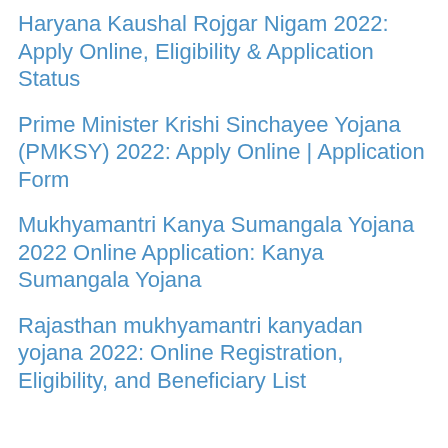Haryana Kaushal Rojgar Nigam 2022: Apply Online, Eligibility & Application Status
Prime Minister Krishi Sinchayee Yojana (PMKSY) 2022: Apply Online | Application Form
Mukhyamantri Kanya Sumangala Yojana 2022 Online Application: Kanya Sumangala Yojana
Rajasthan mukhyamantri kanyadan yojana 2022: Online Registration, Eligibility, and Beneficiary List